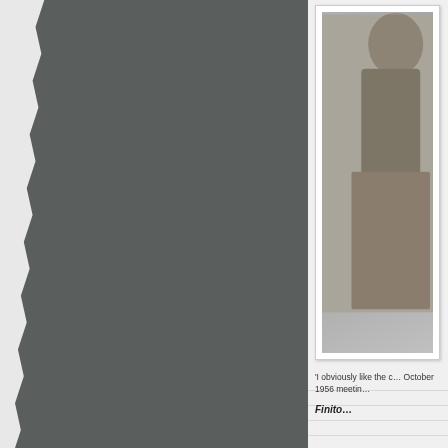[Figure (photo): Torn dark grey/charcoal paper on the left side of the page, occupying approximately two-thirds of the page width]
[Figure (photo): Black and white photograph mounted in a white frame/border on the right side, showing a partial figure, cropped]
'I obviously like the c… October 1956 meetin…
Finito…